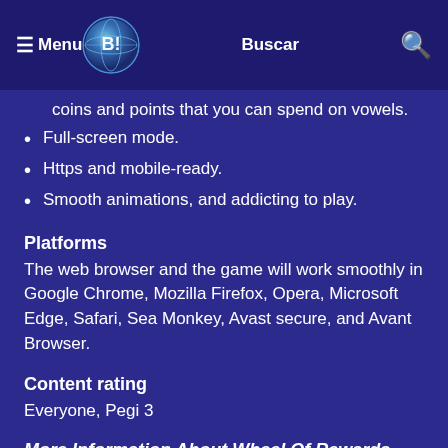☰ Menu | [logo] | Buscar | 🔍
coins and points that you can spend on vowels.
Full-screen mode.
Https and mobile-ready.
Smooth animations, and addicting to play.
Platforms
The web browser and the game will work smoothly in Google Chrome, Mozilla Firefox, Opera, Microsoft Edge, Safari, Sea Monkey, Avast secure, and Avant Browser.
Content rating
Everyone, Pegi 3
More Information About Wheel Of Rewards
It's a cool quiz guessing game online where you can train your brain while having fun with the game. Wheel Of Rewards the game can be played for free online on BrightestGames.com, along with other brain and thinking games for kids online. Also